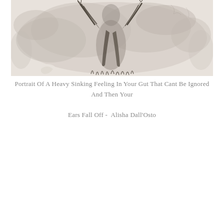[Figure (illustration): A ink wash / watercolor sketch showing an abstract portrait with dark fluid brushstrokes and washes of grey tone suggesting a figure with arms raised, rendered in monochrome sepia/grey tones.]
Portrait Of A Heavy Sinking Feeling In Your Gut That Cant Be Ignored And Then Your Ears Fall Off -  Alisha Dall'Osto